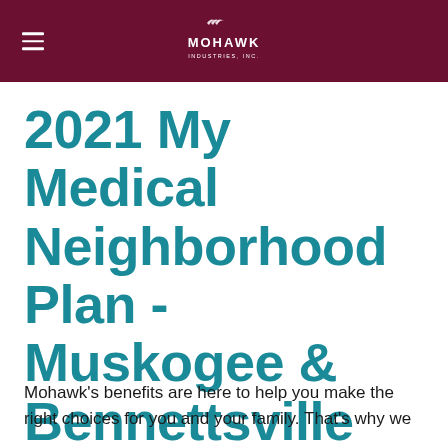Mohawk Industries, Inc.
2021 My Medical Neighborhood Plan - Muskogee & Bennettsville
Mohawk's benefits are here to help you make the right choices for you and your family. That's why we